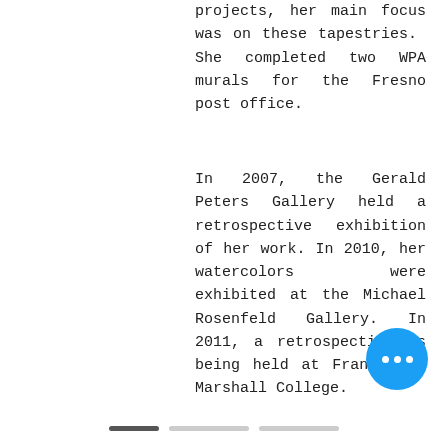projects, her main focus was on these tapestries. She completed two WPA murals for the Fresno post office.
In 2007, the Gerald Peters Gallery held a retrospective exhibition of her work. In 2010, her watercolors were exhibited at the Michael Rosenfeld Gallery. In 2011, a retrospective is being held at Franklin & Marshall College.